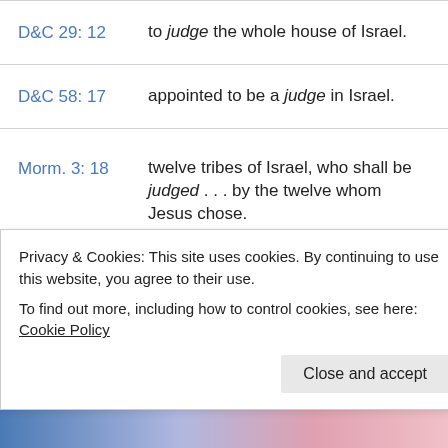D&C 29: 12 — to judge the whole house of Israel.
D&C 58: 17 — appointed to be a judge in Israel.
Morm. 3: 18 — twelve tribes of Israel, who shall be judged . . . by the twelve whom Jesus chose.
Morm. 3: 19 — this people . . . judged by the twelve
Privacy & Cookies: This site uses cookies. By continuing to use this website, you agree to their use. To find out more, including how to control cookies, see here: Cookie Policy